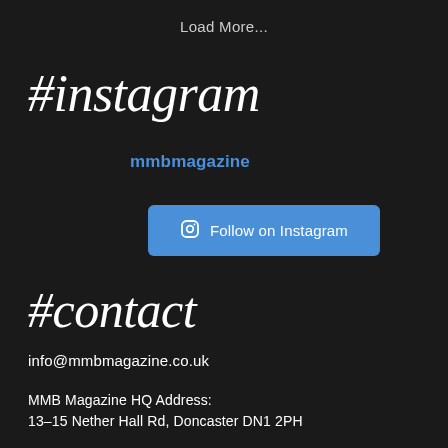Load More...
#instagram
mmbmagazine
Follow on Instagram
#contact
info@mmbmagazine.co.uk
MMB Magazine HQ Address:
13-15 Nether Hall Rd, Doncaster DN1 2PH